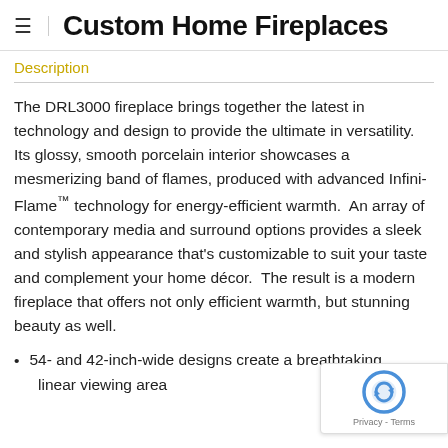Custom Home Fireplaces
Description
The DRL3000 fireplace brings together the latest in technology and design to provide the ultimate in versatility. Its glossy, smooth porcelain interior showcases a mesmerizing band of flames, produced with advanced Infini-Flame™ technology for energy-efficient warmth.  An array of contemporary media and surround options provides a sleek and stylish appearance that's customizable to suit your taste and complement your home décor.  The result is a modern fireplace that offers not only efficient warmth, but stunning beauty as well.
54- and 42-inch-wide designs create a breathta[king linear viewing area...]